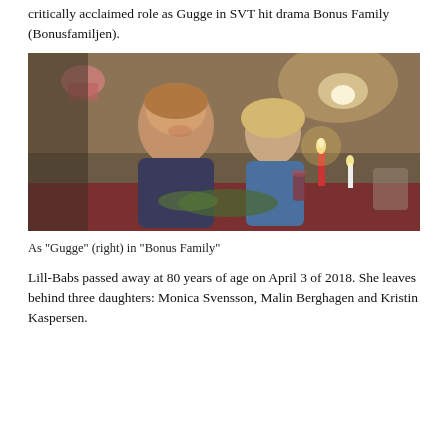critically acclaimed role as Gugge in SVT hit drama Bonus Family (Bonusfamiljen).
[Figure (photo): Two women at a dinner table with candles, one older with short hair leaning against a younger blonde woman; warm candlelit restaurant/home setting. Scene from the TV show Bonus Family.]
As "Gugge" (right) in "Bonus Family"
Lill-Babs passed away at 80 years of age on April 3 of 2018. She leaves behind three daughters: Monica Svensson, Malin Berghagen and Kristin Kaspersen.